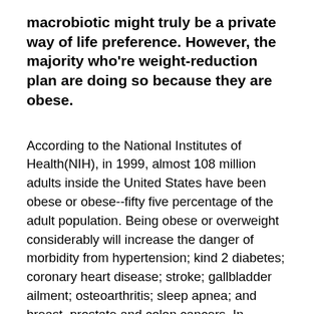macrobiotic might truly be a private way of life preference. However, the majority who're weight-reduction plan are doing so because they are obese.
According to the National Institutes of Health(NIH), in 1999, almost 108 million adults inside the United States have been obese or obese--fifty five percentage of the adult population. Being obese or overweight considerably will increase the danger of morbidity from hypertension; kind 2 diabetes; coronary heart disease; stroke; gallbladder ailment; osteoarthritis; sleep apnea; and breast, prostate and colon cancers. In addition to the thousands of lives which can be cut brief through weight problems, the financial value is incredible. The general charges attributable to weight problems-related disease